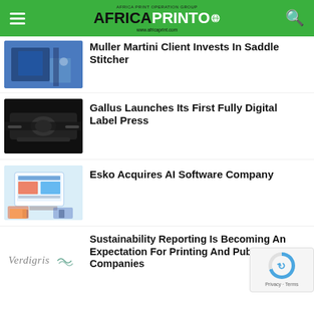Africa Print O - www.africaprint.com
Muller Martini Client Invests In Saddle Stitcher
[Figure (photo): Blue printing machinery with person standing next to it]
Gallus Launches Its First Fully Digital Label Press
[Figure (photo): Black industrial printing/label press machine on dark background]
Esko Acquires AI Software Company
[Figure (photo): Computer monitor showing packaging software with colorful boxes nearby]
Sustainability Reporting Is Becoming An Expectation For Printing And Publishing Companies
[Figure (logo): Verdigris logo with italic text and wave graphic]